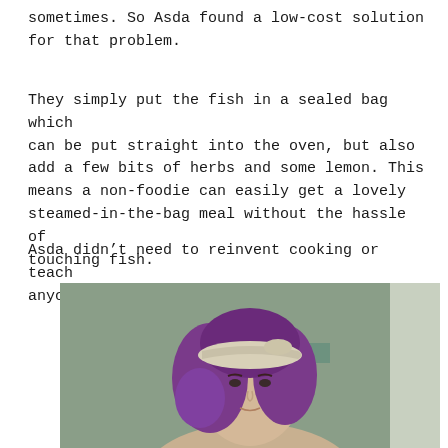sometimes. So Asda found a low-cost solution for that problem.
They simply put the fish in a sealed bag which can be put straight into the oven, but also add a few bits of herbs and some lemon. This means a non-foodie can easily get a lovely steamed-in-the-bag meal without the hassle of touching fish.
Asda didn’t need to reinvent cooking or teach anyone to cook. Simply remarkable.
[Figure (photo): A person with purple hair and a white bandana/headband, photographed indoors against a light-colored wall.]